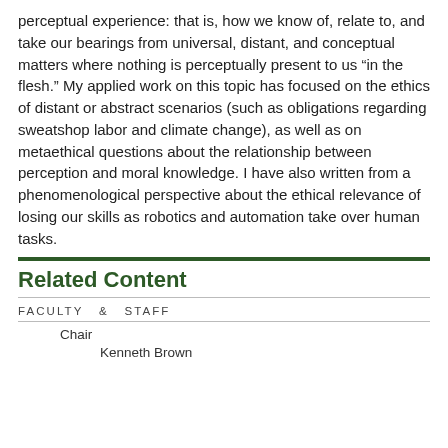perceptual experience: that is, how we know of, relate to, and take our bearings from universal, distant, and conceptual matters where nothing is perceptually present to us “in the flesh.” My applied work on this topic has focused on the ethics of distant or abstract scenarios (such as obligations regarding sweatshop labor and climate change), as well as on metaethical questions about the relationship between perception and moral knowledge. I have also written from a phenomenological perspective about the ethical relevance of losing our skills as robotics and automation take over human tasks.
Related Content
FACULTY & STAFF
Chair
Kenneth Brown